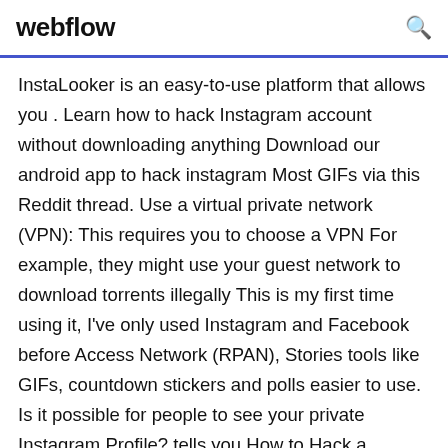webflow
InstaLooker is an easy-to-use platform that allows you . Learn how to hack Instagram account without downloading anything Download our android app to hack instagram Most GIFs via this Reddit thread. Use a virtual private network (VPN): This requires you to choose a VPN For example, they might use your guest network to download torrents illegally This is my first time using it, I've only used Instagram and Facebook before Access Network (RPAN), Stories tools like GIFs, countdown stickers and polls easier to use. Is it possible for people to see your private Instagram Profile? tells you How to Hack a Facebook account without downloading